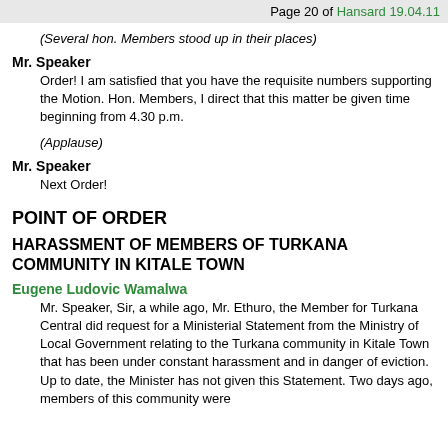Page 20 of Hansard 19.04.11
(Several hon. Members stood up in their places)
Mr. Speaker
Order! I am satisfied that you have the requisite numbers supporting the Motion. Hon. Members, I direct that this matter be given time beginning from 4.30 p.m.
(Applause)
Mr. Speaker
Next Order!
POINT OF ORDER
HARASSMENT OF MEMBERS OF TURKANA COMMUNITY IN KITALE TOWN
Eugene Ludovic Wamalwa
Mr. Speaker, Sir, a while ago, Mr. Ethuro, the Member for Turkana Central did request for a Ministerial Statement from the Ministry of Local Government relating to the Turkana community in Kitale Town that has been under constant harassment and in danger of eviction. Up to date, the Minister has not given this Statement. Two days ago, members of this community were